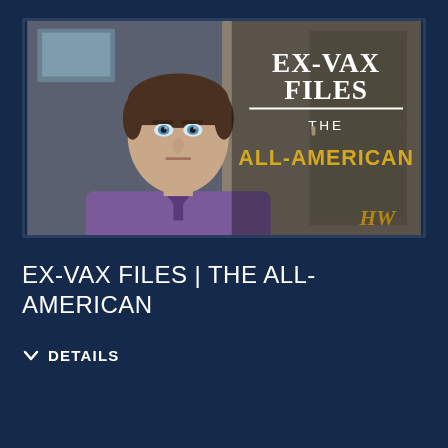[Figure (screenshot): Video thumbnail showing a young man in a purple polo shirt with serious expression on the left side, and text on the right side reading 'EX-VAX FILES' in white serif letters with a horizontal line beneath, then 'THE' in smaller white text, and 'ALL-AMERICAN' in large gold/yellow bold letters. A gold 'HW' watermark logo appears in the bottom right corner. Background shows a room interior.]
EX-VAX FILES | THE ALL-AMERICAN
DETAILS